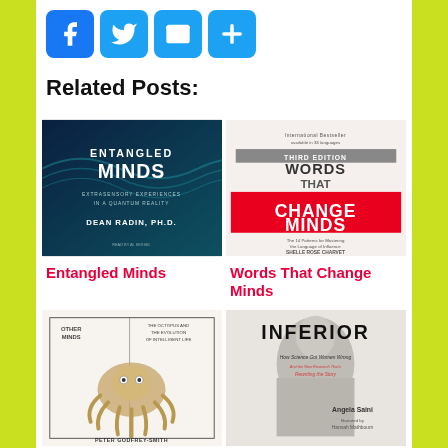[Figure (screenshot): Social sharing icons: Facebook (blue F), Twitter (blue bird), Mail (blue envelope), Plus/share (blue plus)]
Related Posts:
[Figure (photo): Book cover: Entangled Minds by Dean Radin, Ph.D. - dark teal with white bold text]
Entangled Minds
[Figure (photo): Book cover: Words That Change Minds, Third Edition - white and red with bold text]
Words That Change Minds
[Figure (photo): Book cover: Other Minds: The Octopus... by Peter Godfrey-Smith - white with octopus illustration]
Other Minds: The Octopus
[Figure (photo): Book cover: Inferior: How Science Got Women Wrong by Angela Saini - black and white photo of woman]
Inferior: How Science Got